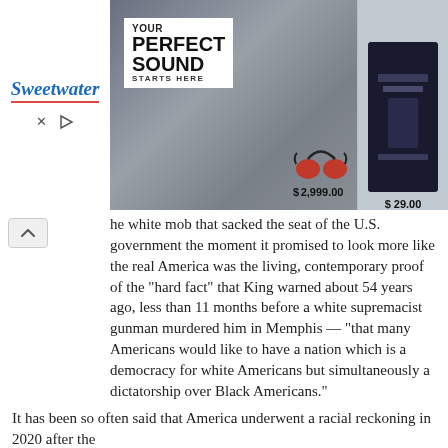[Figure (screenshot): Advertisement banner for Sweetwater music equipment store. Shows 'YOUR PERFECT SOUND STARTS HERE' text overlay on studio equipment image, with earphones priced at $2,999.00 and a plugin interface priced at $29.00. Sweetwater logo on left side with close and play controls below.]
he white mob that sacked the seat of the U.S. government the moment it promised to look more like the real America was the living, contemporary proof of the "hard fact" that King warned about 54 years ago, less than 11 months before a white supremacist gunman murdered him in Memphis — "that many Americans would like to have a nation which is a democracy for white Americans but simultaneously a dictatorship over Black Americans."
It has been so often said that America underwent a racial reckoning in 2020 after the